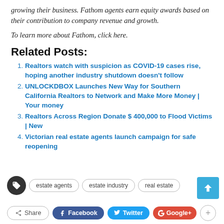growing their business. Fathom agents earn equity awards based on their contribution to company revenue and growth.
To learn more about Fathom, click here.
Related Posts:
Realtors watch with suspicion as COVID-19 cases rise, hoping another industry shutdown doesn't follow
UNLOCKDBOX Launches New Way for Southern California Realtors to Network and Make More Money | Your money
Realtors Across Region Donate $ 400,000 to Flood Victims | New
Victorian real estate agents launch campaign for safe reopening